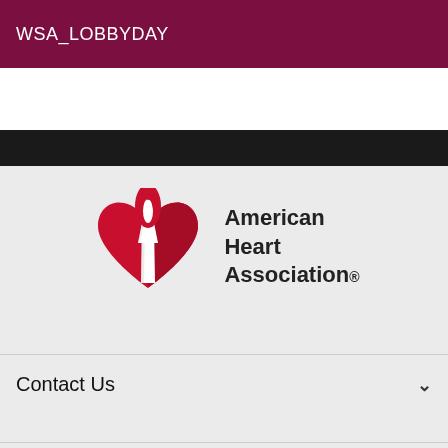WSA_LOBBYDAY
[Figure (logo): American Heart Association logo with torch and heart, and text 'American Heart Association®']
Contact Us
About Us